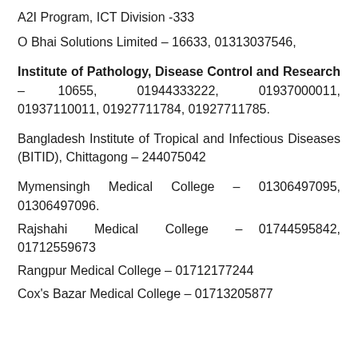A2I Program, ICT Division -333
O Bhai Solutions Limited – 16633, 01313037546,
Institute of Pathology, Disease Control and Research – 10655, 01944333222, 01937000011, 01937110011, 01927711784, 01927711785.
Bangladesh Institute of Tropical and Infectious Diseases (BITID), Chittagong – 244075042
Mymensingh Medical College – 01306497095, 01306497096.
Rajshahi Medical College – 01744595842, 01712559673
Rangpur Medical College – 01712177244
Cox's Bazar Medical College – 01713205877